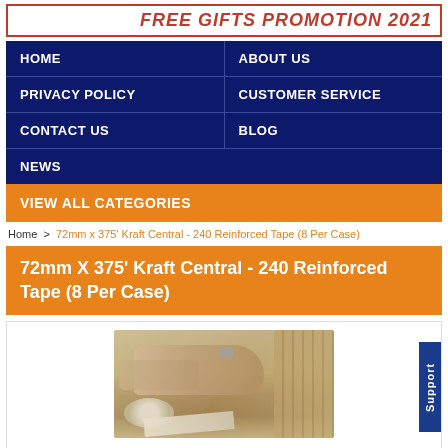FREE GIFTS PROMOTION 2021
HOME
ABOUT US
PRIVACY POLICY
CUSTOMER SERVICE
CONTACT US
BLOG
NEWS
VIEW ALL CATEGORIES
Home > 72mm x 375' Kraft Central - 240 Reinforced Tape (8 Per Case)
72mm X 375' Kraft Central - 240 Reinforced Tape (8 Per Case)
[Figure (photo): Person applying kraft reinforced tape to a cardboard box, with multiple kraft rolls/boxes visible in the background]